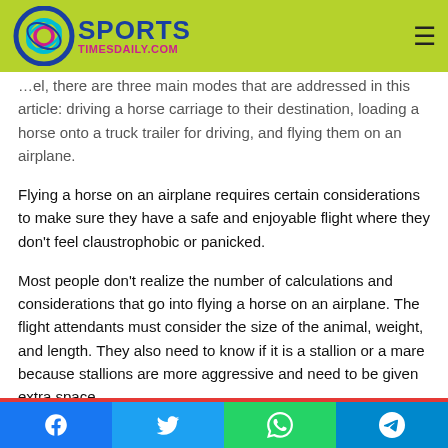Sports Times Daily
…el, there are three main modes that are addressed in this article: driving a horse carriage to their destination, loading a horse onto a truck trailer for driving, and flying them on an airplane.
Flying a horse on an airplane requires certain considerations to make sure they have a safe and enjoyable flight where they don't feel claustrophobic or panicked.
Most people don't realize the number of calculations and considerations that go into flying a horse on an airplane. The flight attendants must consider the size of the animal, weight, and length. They also need to know if it is a stallion or a mare because stallions are more aggressive and need to be given extra space.
Facebook | Twitter | WhatsApp | Telegram